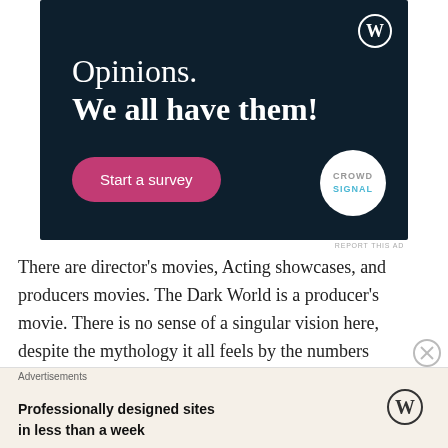[Figure (screenshot): WordPress/Crowdsignal advertisement banner with dark navy background. Shows text 'Opinions. We all have them!' with a pink 'Start a survey' button and Crowdsignal logo circle. WordPress logo in top right.]
REPORT THIS AD
There are director's movies, Acting showcases, and producers movies. The Dark World is a producer's movie. There is no sense of a singular vision here, despite the mythology it all feels by the numbers and uninspired. the plot is a bit hard to follow and while I
Advertisements
Professionally designed sites in less than a week